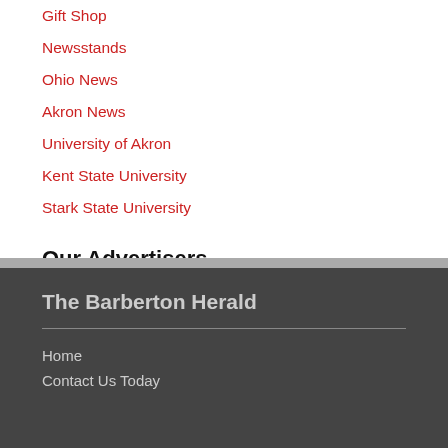Gift Shop
Newsstands
Ohio News
Akron News
University of Akron
Kent State University
Stark State University
Our Advertisers
The Barberton Herald
Home
Contact Us Today